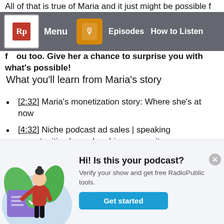All of that is true of Maria and it just might be possible for you too. Give her a chance to surprise you with what's possible!
Menu | Episodes | How to Listen
What you'll learn from Maria's story
[2:32] Maria's monetization story: Where she's at now
[4:32] Niche podcast ad sales | speaking opportunities | membership community
[7:18] The wandering path: Why Maria thought 10 episodes would be it for her show
[11:10] The first steps of monetization Maria
[Figure (illustration): Illustration of a woman in red top and black pants standing next to a large checkmark document, with green leaves in background, on a light blue circle background]
Hi! Is this your podcast? Verify your show and get free RadioPublic tools.
Get started